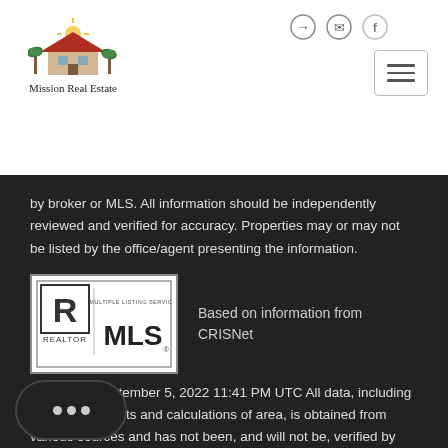[Figure (logo): Mission Real Estate logo — house with palm trees and red roof, text 'Mission Real Estate' below]
by broker or MLS. All information should be independently reviewed and verified for accuracy. Properties may or may not be listed by the office/agent presenting the information.
[Figure (logo): REALTOR Multiple Listing Service MLS logo — black and white square logo with R symbol and MLS text]
Based on information from CRISNet MLS as of September 5, 2022 11:41 PM UTC All data, including all measurements and calculations of area, is obtained from various sources and has not been, and will not be, verified by broker or rmation should be independently reviewed and v accuracy. Properties may or may not be listed by the